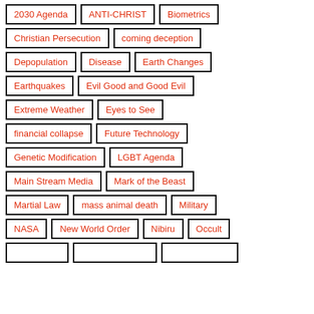2030 Agenda
ANTI-CHRIST
Biometrics
Christian Persecution
coming deception
Depopulation
Disease
Earth Changes
Earthquakes
Evil Good and Good Evil
Extreme Weather
Eyes to See
financial collapse
Future Technology
Genetic Modification
LGBT Agenda
Main Stream Media
Mark of the Beast
Martial Law
mass animal death
Military
NASA
New World Order
Nibiru
Occult